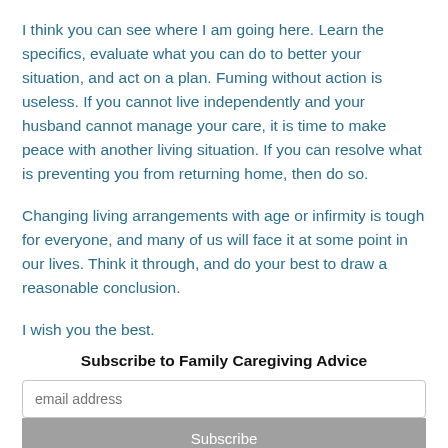I think you can see where I am going here. Learn the specifics, evaluate what you can do to better your situation, and act on a plan. Fuming without action is useless. If you cannot live independently and your husband cannot manage your care, it is time to make peace with another living situation. If you can resolve what is preventing you from returning home, then do so.
Changing living arrangements with age or infirmity is tough for everyone, and many of us will face it at some point in our lives. Think it through, and do your best to draw a reasonable conclusion.
I wish you the best.
Subscribe to Family Caregiving Advice
[Figure (other): Email subscription form with input field showing 'email address' placeholder and a Subscribe button, overlaid with a blue 'Let's Chat' chat bubble button in the bottom right corner]